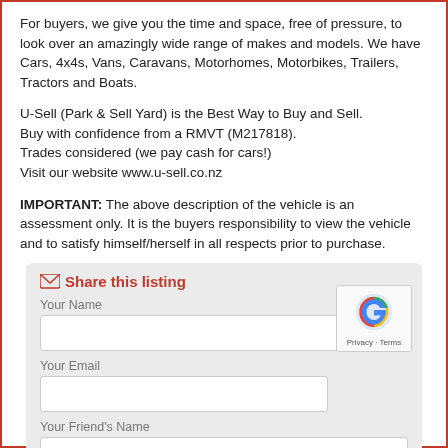For buyers, we give you the time and space, free of pressure, to look over an amazingly wide range of makes and models. We have Cars, 4x4s, Vans, Caravans, Motorhomes, Motorbikes, Trailers, Tractors and Boats.
U-Sell (Park & Sell Yard) is the Best Way to Buy and Sell.
Buy with confidence from a RMVT (M217818).
Trades considered (we pay cash for cars!)
Visit our website www.u-sell.co.nz
IMPORTANT: The above description of the vehicle is an assessment only. It is the buyers responsibility to view the vehicle and to satisfy himself/herself in all respects prior to purchase.
Share this listing
Your Name
Your Email
Your Friend's Name